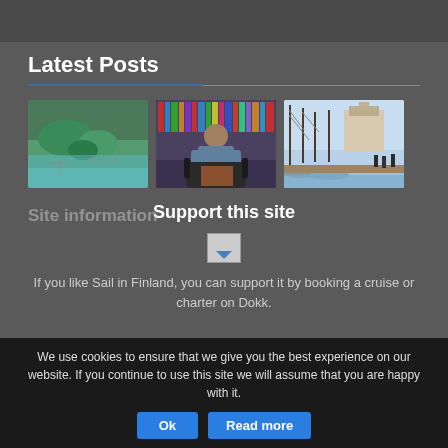Latest Posts
[Figure (photo): Aerial view of green island archipelago with dock]
[Figure (photo): Man sitting in leather chair in front of bookshelves]
[Figure (photo): Historic harbor with sailboats and people walking on dock]
Support this site
[Figure (logo): Small broken image placeholder icon]
If you like Sail in Finland, you can support it by booking a cruise or charter on Dokk.
Site information
We use cookies to ensure that we give you the best experience on our website. If you continue to use this site we will assume that you are happy with it.